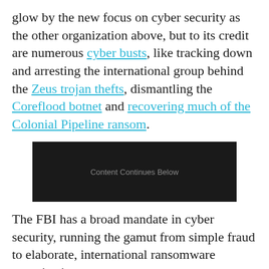glow by the new focus on cyber security as the other organization above, but to its credit are numerous cyber busts, like tracking down and arresting the international group behind the Zeus trojan thefts, dismantling the Coreflood botnet and recovering much of the Colonial Pipeline ransom.
[Figure (other): Dark advertisement placeholder box with text 'Content Continues Below']
The FBI has a broad mandate in cyber security, running the gamut from simple fraud to elaborate, international ransomware organizations.
The cyber security threat landscape